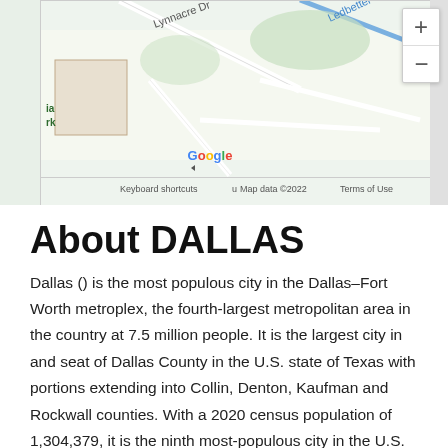[Figure (map): Google Maps screenshot showing a street map area with Lynnacre Dr and Ledbetter C labels, zoom controls (+/-), Google logo, and map footer with Keyboard shortcuts, Map data ©2022, Terms of Use. A rectangular placeholder box is visible on the left side.]
About DALLAS
Dallas () is the most populous city in the Dallas–Fort Worth metroplex, the fourth-largest metropolitan area in the country at 7.5 million people. It is the largest city in and seat of Dallas County in the U.S. state of Texas with portions extending into Collin, Denton, Kaufman and Rockwall counties. With a 2020 census population of 1,304,379, it is the ninth most-populous city in the U.S. and the third-largest in Texas after Houston and San Antonio. Located in the